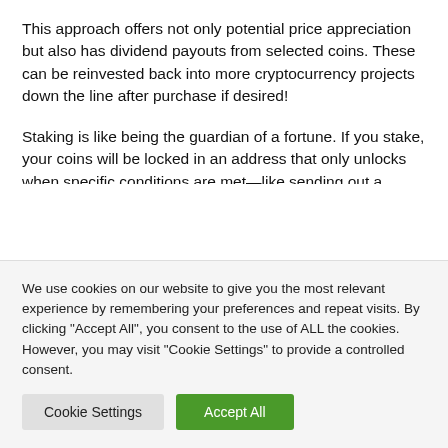This approach offers not only potential price appreciation but also has dividend payouts from selected coins. These can be reinvested back into more cryptocurrency projects down the line after purchase if desired!
Staking is like being the guardian of a fortune. If you stake, your coins will be locked in an address that only unlocks when specific conditions are met—like sending out a transaction or voting for protocol updates. The more blocks mined and transactions made, the more
We use cookies on our website to give you the most relevant experience by remembering your preferences and repeat visits. By clicking "Accept All", you consent to the use of ALL the cookies. However, you may visit "Cookie Settings" to provide a controlled consent.